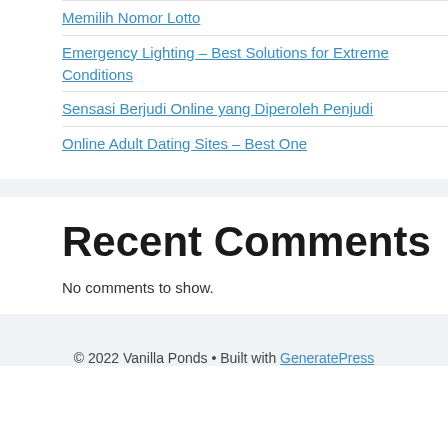Memilih Nomor Lotto
Emergency Lighting – Best Solutions for Extreme Conditions
Sensasi Berjudi Online yang Diperoleh Penjudi
Online Adult Dating Sites – Best One
Recent Comments
No comments to show.
© 2022 Vanilla Ponds • Built with GeneratePress